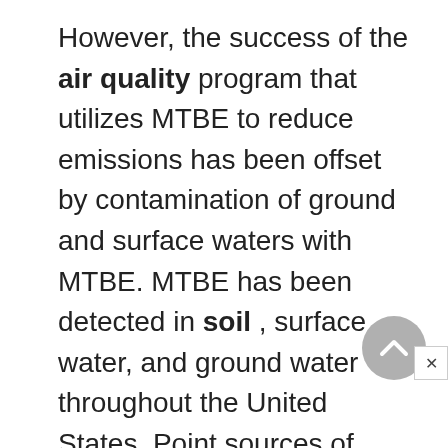However, the success of the air quality program that utilizes MTBE to reduce emissions has been offset by contamination of ground and surface waters with MTBE. MTBE has been detected in soil , surface water, and ground water throughout the United States. Point sources of MTBE include releases from underground and above-ground storage tanks and pipelines due to leaks, overfilling, and faulty construction. Non-point sources